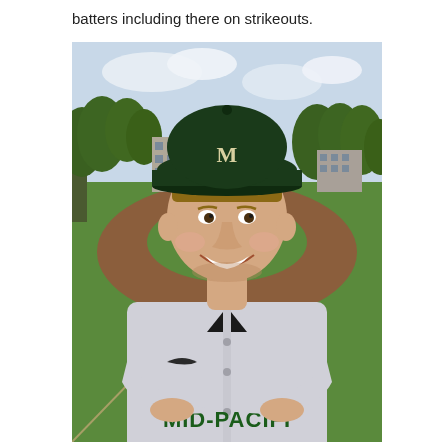batters including there on strikeouts.
[Figure (photo): A young male baseball player wearing a gray Mid-Pacific baseball uniform and dark green cap with 'M' logo, smiling with arms crossed at a baseball field. Trees, a building, and a red dirt infield are visible in the background.]